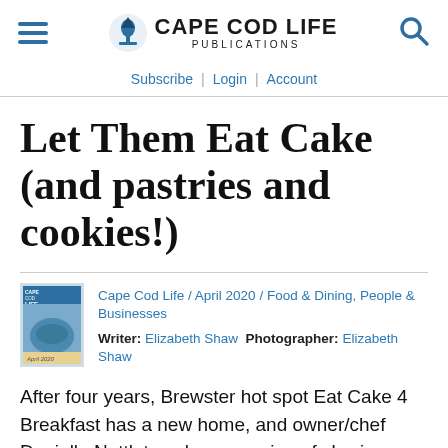CAPE COD LIFE PUBLICATIONS
Subscribe | Login | Account
Let Them Eat Cake (and pastries and cookies!)
Cape Cod Life / April 2020 / Food & Dining, People & Businesses
Writer: Elizabeth Shaw  Photographer: Elizabeth Shaw
After four years, Brewster hot spot Eat Cake 4 Breakfast has a new home, and owner/chef Danielle Nettleton shows no sign of slowing down.